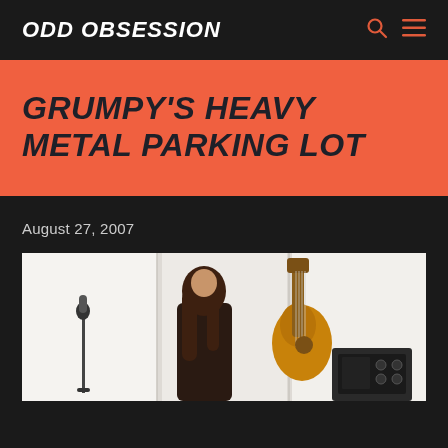ODD OBSESSION
GRUMPY'S HEAVY METAL PARKING LOT
August 27, 2007
[Figure (photo): A person with long brown hair holding a bass guitar on a stage or outdoor venue with white tent/curtain backdrop, microphone stand visible on the left, amplifier on the right.]